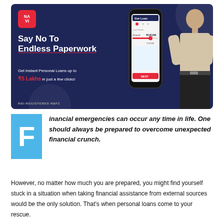[Figure (advertisement): Navi app advertisement banner with dark navy background. Shows Navi logo (red), text 'Say No To Endless Paperwork', 'Get Instant Personal Loans up to ₹5 Lakhs in just a few clicks!', a phone mockup showing loan app UI, a person standing on the right, and 'RBI-REGISTERED NBFC' at bottom left.]
Financial emergencies can occur any time in life. One should always be prepared to overcome unexpected financial crunch.
However, no matter how much you are prepared, you might find yourself stuck in a situation when taking financial assistance from external sources would be the only solution. That's when personal loans come to your rescue.